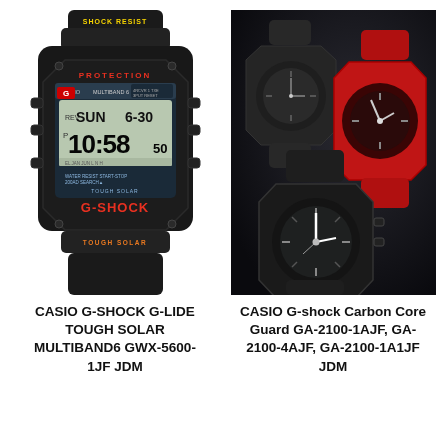[Figure (photo): CASIO G-SHOCK G-LIDE digital watch in black with red and yellow accents, showing digital display with SUN 6-30, 10:58, tough solar and multiband 6 text. White background.]
[Figure (photo): Three CASIO G-shock Carbon Core Guard watches: one all-black, one red, one black/grey, arranged overlapping on dark background.]
CASIO G-SHOCK G-LIDE TOUGH SOLAR MULTIBAND6 GWX-5600-1JF JDM
CASIO G-shock Carbon Core Guard GA-2100-1AJF, GA-2100-4AJF, GA-2100-1A1JF JDM